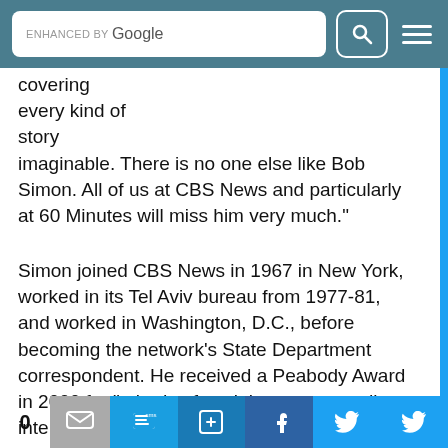ENHANCED BY Google [search bar with icon and hamburger menu]
covering every kind of story imaginable. There is no one else like Bob Simon. All of us at CBS News and particularly at 60 Minutes will miss him very much."
Simon joined CBS News in 1967 in New York, worked in its Tel Aviv bureau from 1977-81, and worked in Washington, D.C., before becoming the network's State Department correspondent. He received a Peabody Award in 2000 for "a body of work by an outstanding international journalist on a diverse set of critical global issues" and a Lifetime Achievement Emmy in 2003, according to the CBS News report.
0 [social share buttons: email, SMS, LinkedIn, Facebook, Twitter]